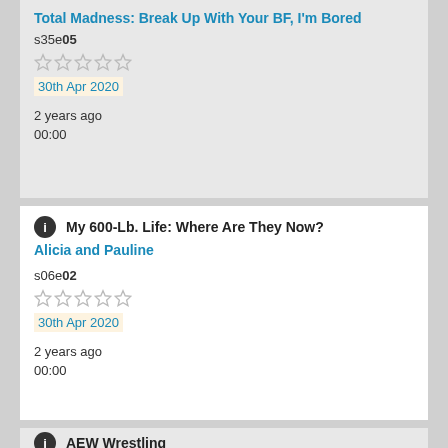Total Madness: Break Up With Your BF, I'm Bored
s35e05
30th Apr 2020
2 years ago
00:00
My 600-Lb. Life: Where Are They Now?
Alicia and Pauline
s06e02
30th Apr 2020
2 years ago
00:00
AEW Wrestling